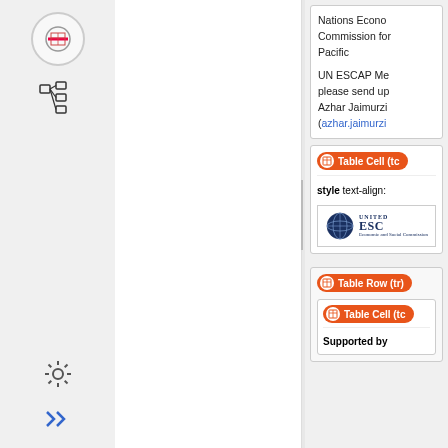[Figure (screenshot): Application UI showing left sidebar with navigation icons (no-entry/table icon, tree structure icon, settings gear, double-arrow), a white center content pane, a drag handle separator, and a right panel with tree structure cards showing HTML table elements (Table Cell, Table Row) with properties and UN ESCAP logo.]
Nations Economic Commission for ... Pacific
UN ESCAP Me... please send up... Azhar Jaimurzina (azhar.jaimurzina...
Table Cell (tc...
style text-align:
[Figure (logo): UNITED NATIONS ESCAP logo - Economic and Social Commission]
Table Row (tr)
Table Cell (tc...
Supported by...